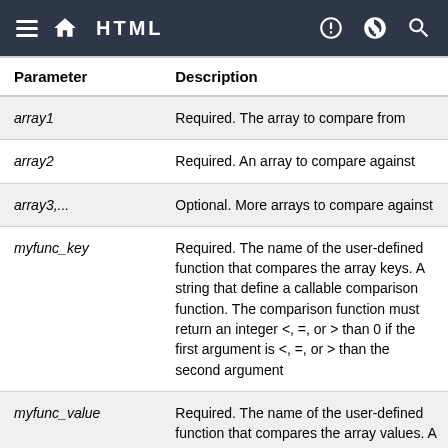HTML
| Parameter | Description |
| --- | --- |
| array1 | Required. The array to compare from |
| array2 | Required. An array to compare against |
| array3,... | Optional. More arrays to compare against |
| myfunc_key | Required. The name of the user-defined function that compares the array keys. A string that define a callable comparison function. The comparison function must return an integer <, =, or > than 0 if the first argument is <, =, or > than the second argument |
| myfunc_value | Required. The name of the user-defined function that compares the array values. A string that define a callable comparison function. The comparison function must |